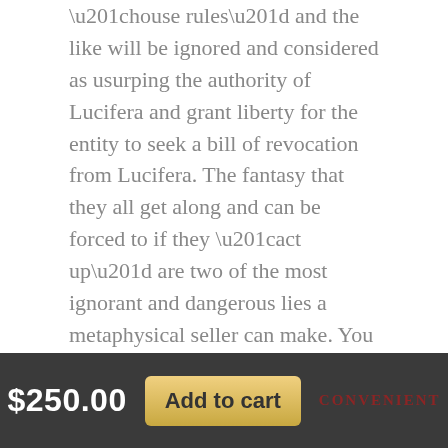“house rules” and the like will be ignored and considered as usurping the authority of Lucifera and grant liberty for the entity to seek a bill of revocation from Lucifera. The fantasy that they all get along and can be forced to if they “act up” are two of the most ignorant and dangerous lies a metaphysical seller can make. You thus assume the full liability of having Lucifera revoke any companion put in harm’s way or otherwise being subjected to abuse on your part.
$250.00  Add to cart  CONVENIENT